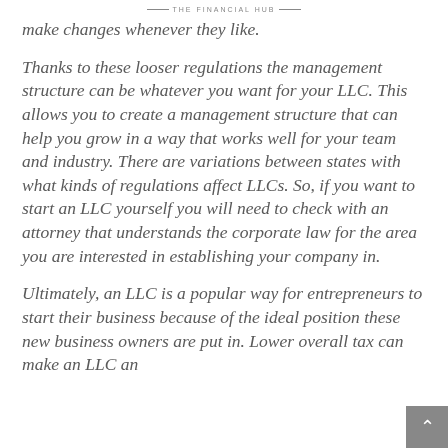— THE FINANCIAL HUB —
make changes whenever they like.
Thanks to these looser regulations the management structure can be whatever you want for your LLC. This allows you to create a management structure that can help you grow in a way that works well for your team and industry. There are variations between states with what kinds of regulations affect LLCs. So, if you want to start an LLC yourself you will need to check with an attorney that understands the corporate law for the area you are interested in establishing your company in.
Ultimately, an LLC is a popular way for entrepreneurs to start their business because of the ideal position these new business owners are put in. Lower overall tax can make an LLC an